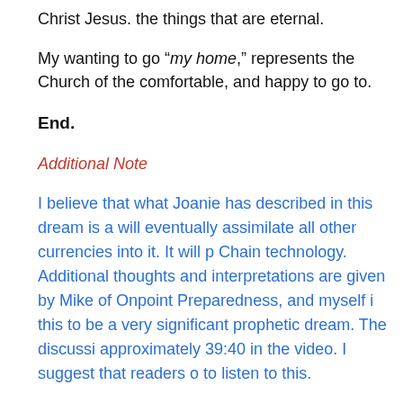Christ Jesus. the things that are eternal.
My wanting to go “my home,” represents the Church of the comfortable, and happy to go to.
End.
Additional Note
I believe that what Joanie has described in this dream is a will eventually assimilate all other currencies into it. It will p Chain technology. Additional thoughts and interpretations are given by Mike of Onpoint Preparedness, and myself i this to be a very significant prophetic dream. The discussi approximately 39:40 in the video. I suggest that readers o to listen to this.
Tony K